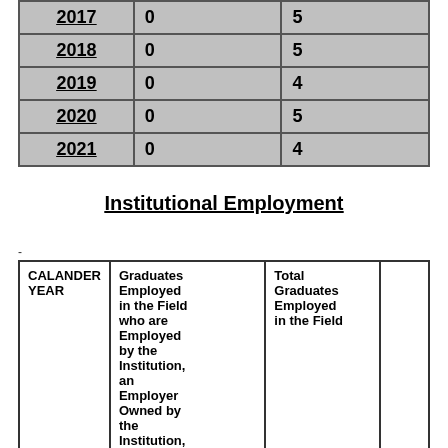| Year | Column2 | Column3 |
| --- | --- | --- |
| 2017 | 0 | 5 |
| 2018 | 0 | 5 |
| 2019 | 0 | 4 |
| 2020 | 0 | 5 |
| 2021 | 0 | 4 |
Institutional Employment
-
| CALANDER YEAR | Graduates Employed in the Field who are Employed by the Institution, an Employer Owned by the Institution, or an | Total Graduates Employed in the Field |  |
| --- | --- | --- | --- |